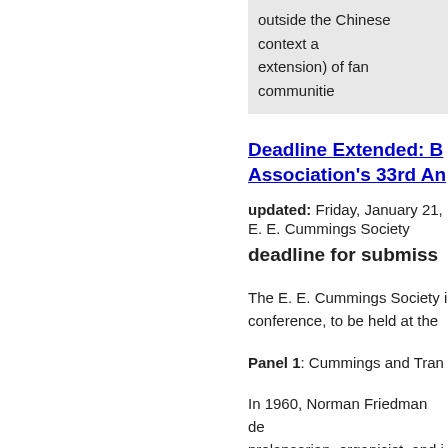outside the Chinese context a extension) of fan communities
Deadline Extended: E Association's 33rd An
updated: Friday, January 21,
E. E. Cummings Society
deadline for submiss
The E. E. Cummings Society i conference, to be held at the
Panel 1: Cummings and Tran
In 1960, Norman Friedman de prelapsarian, organicist, and i such as Emerson, Whitman, T clarifying, or complicating the